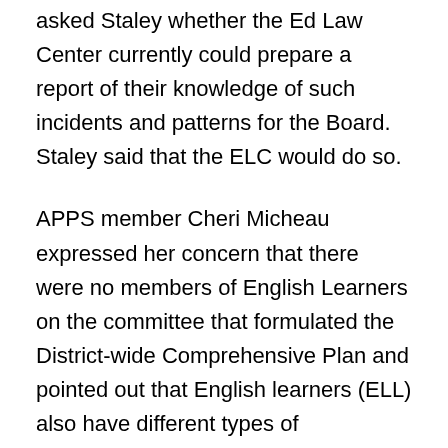asked Staley whether the Ed Law Center currently could prepare a report of their knowledge of such incidents and patterns for the Board. Staley said that the ELC would do so.
APPS member Cheri Micheau expressed her concern that there were no members of English Learners on the committee that formulated the District-wide Comprehensive Plan and pointed out that English learners (ELL) also have different types of disabilities. Cheri, who worked with ELL students in the District,  testified that it appears the District is not paying sufficient attention to this growing group of students and not providing teachers with curriculum support for these actual special needs. Committee member Mallory